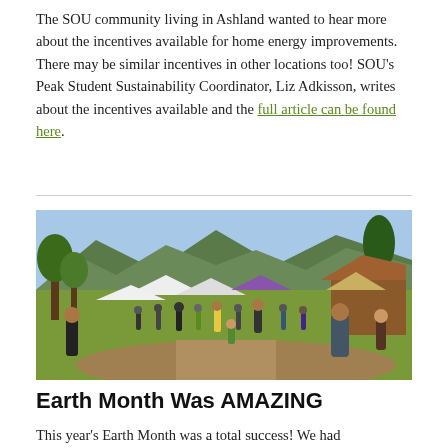The SOU community living in Ashland wanted to hear more about the incentives available for home energy improvements. There may be similar incentives in other locations too! SOU's Peak Student Sustainability Coordinator, Liz Adkisson, writes about the incentives available and the full article can be found here.
[Figure (photo): Outdoor event scene with many people gathered on a sunny day at what appears to be an Earth Month festival, with tents, trees, mountains, and a rustic building in the background.]
Earth Month Was AMAZING
This year's Earth Month was a total success! We had